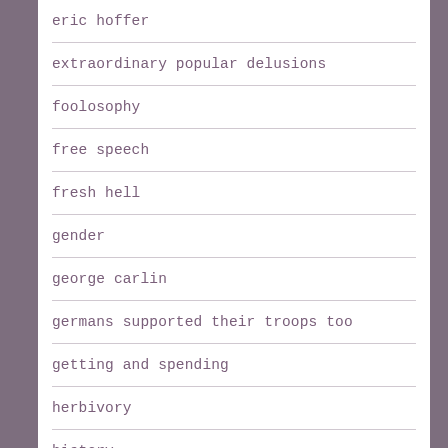eric hoffer
extraordinary popular delusions
foolosophy
free speech
fresh hell
gender
george carlin
germans supported their troops too
getting and spending
herbivory
history
humanitarian diet
identity
jests japes jokes jollies